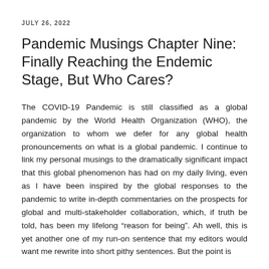JULY 26, 2022
Pandemic Musings Chapter Nine: Finally Reaching the Endemic Stage, But Who Cares?
The COVID-19 Pandemic is still classified as a global pandemic by the World Health Organization (WHO), the organization to whom we defer for any global health pronouncements on what is a global pandemic. I continue to link my personal musings to the dramatically significant impact that this global phenomenon has had on my daily living, even as I have been inspired by the global responses to the pandemic to write in-depth commentaries on the prospects for global and multi-stakeholder collaboration, which, if truth be told, has been my lifelong “reason for being”. Ah well, this is yet another one of my run-on sentence that my editors would want me rewrite into short pithy sentences. But the point is